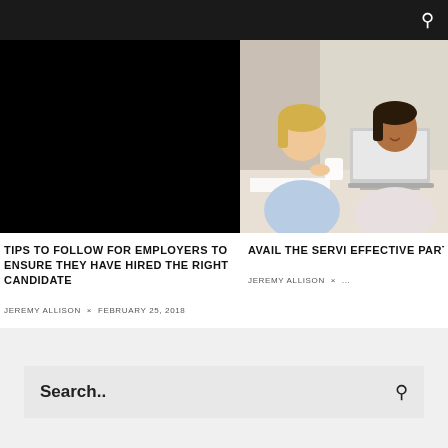[Figure (photo): Black rectangle placeholder image for article thumbnail]
[Figure (photo): Photo of two women looking at a laptop together in an office setting]
TIPS TO FOLLOW FOR EMPLOYERS TO ENSURE THEY HAVE HIRED THE RIGHT CANDIDATE
JEREMY ALLISON × FEBRUARY 25, 2018
AVAIL THE SERVI EFFECTIVE PART
JEREMY ALLISON × ...